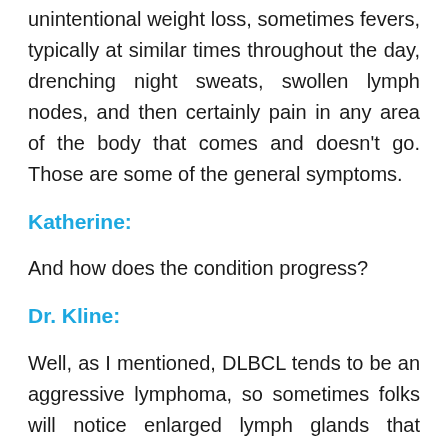unintentional weight loss, sometimes fevers, typically at similar times throughout the day, drenching night sweats, swollen lymph nodes, and then certainly pain in any area of the body that comes and doesn't go. Those are some of the general symptoms.
Katherine:
And how does the condition progress?
Dr. Kline:
Well, as I mentioned, DLBCL tends to be an aggressive lymphoma, so sometimes folks will notice enlarged lymph glands that continue to grow and grow and grow. Sometimes they're painful, sometimes not so much. DLBCL, it can